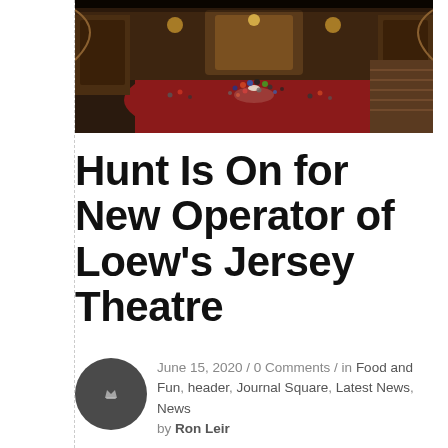[Figure (photo): Aerial view of Loew's Jersey Theatre interior showing ornate lobby/hall with red carpet, people gathered below, gold decorative walls and balconies]
Hunt Is On for New Operator of Loew's Jersey Theatre
June 15, 2020 / 0 Comments / in Food and Fun, header, Journal Square, Latest News, News
by Ron Leir